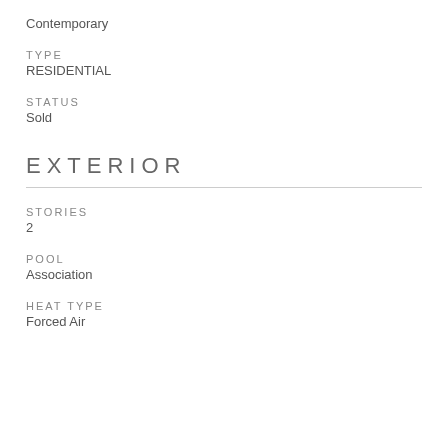Contemporary
TYPE
RESIDENTIAL
STATUS
Sold
EXTERIOR
STORIES
2
POOL
Association
HEAT TYPE
Forced Air